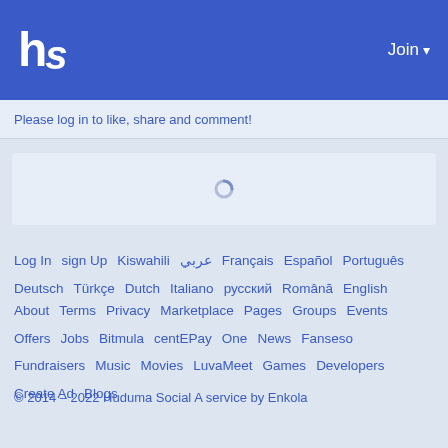hs  Join
Please log in to like, share and comment!
[Figure (other): Loading spinner / placeholder box]
Log In  sign Up  Kiswahili  عربي  Français  Español  Português  Deutsch  Türkçe  Dutch  Italiano  русский  Română  English
About  Terms  Privacy  Marketplace  Pages  Groups  Events  Offers  Jobs  Bitmula  centEPay  One  News  Fanseso  Fundraisers  Music  Movies  LuvaMeet  Games  Developers  Create Ad  Blogs
© 2014 – 2022 Huduma Social A service by Enkola